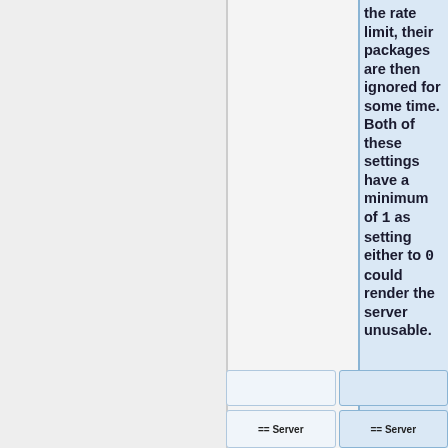the rate limit, their packages are then ignored for some time. Both of these settings have a minimum of 1 as setting either to 0 could render the server unusable.
== Server
== Server